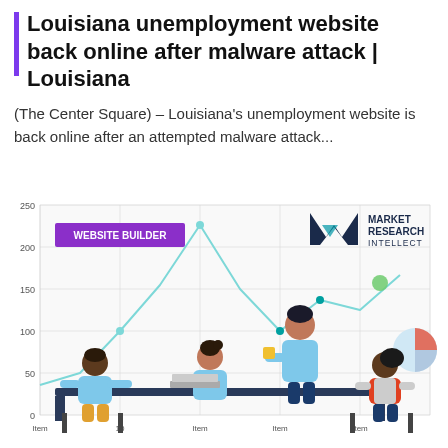Louisiana unemployment website back online after malware attack | Louisiana
(The Center Square) – Louisiana's unemployment website is back online after an attempted malware attack...
[Figure (infographic): Market Research Intellect branded infographic showing a line chart with y-axis values 0, 50, 100, 150, 200, 250 and x-axis labels (Item 1, Item 2, etc.), overlaid with an illustration of business people sitting around a table in a meeting. A purple 'WEBSITE BUILDER' label appears in the upper left of the chart.]